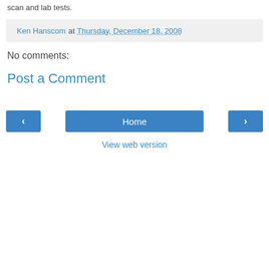scan and lab tests.
Ken Hanscom at Thursday, December 18, 2008
No comments:
Post a Comment
[Figure (other): Navigation buttons: left arrow, Home, right arrow]
View web version